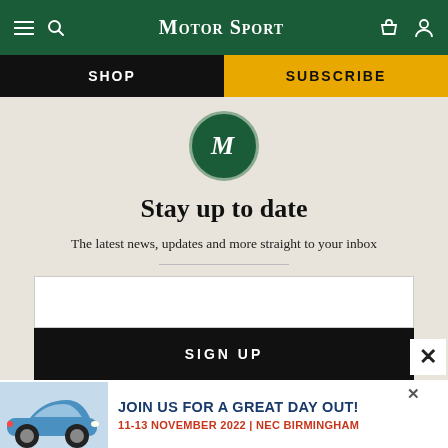Motor Sport
SHOP | SUBSCRIBE
[Figure (logo): Motor Sport magazine M logo in green circle]
Stay up to date
The latest news, updates and more straight to your inbox
SIGN UP
[Figure (infographic): Advertisement banner: JOIN US FOR A GREAT DAY OUT! 11-13 NOVEMBER 2022 | NEC BIRMINGHAM, with blue Porsche 911 car image]